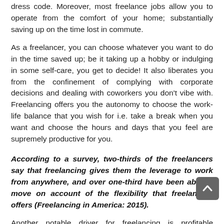dress code. Moreover, most freelance jobs allow you to operate from the comfort of your home; substantially saving up on the time lost in commute.
As a freelancer, you can choose whatever you want to do in the time saved up; be it taking up a hobby or indulging in some self-care, you get to decide! It also liberates you from the confinement of complying with corporate decisions and dealing with coworkers you don't vibe with. Freelancing offers you the autonomy to choose the work-life balance that you wish for i.e. take a break when you want and choose the hours and days that you feel are supremely productive for you.
According to a survey, two-thirds of the freelancers say that freelancing gives them the leverage to work from anywhere, and over one-third have been able to move on account of the flexibility that freelancing offers (Freelancing in America: 2015).
Another notable driver for freelancing is profitable earnings. According to a survey conducted by Freelancerman, (2019), 61% of freelancers are...